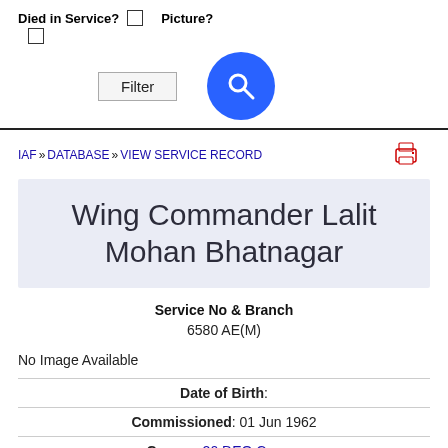Died in Service? □  Picture? □
Filter
IAF » DATABASE » VIEW SERVICE RECORD
Wing Commander Lalit Mohan Bhatnagar
Service No & Branch
6580 AE(M)
No Image Available
Date of Birth:
Commissioned: 01 Jun 1962
Course: 20 DEO Course